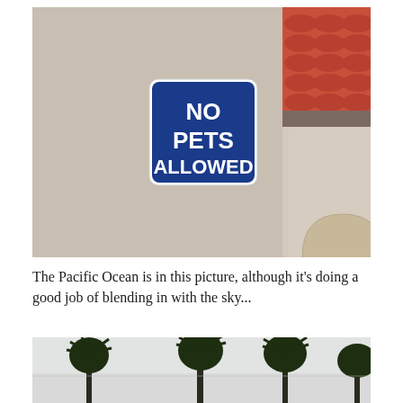[Figure (photo): Photo of a building wall with a blue square sign reading 'NO PETS ALLOWED' in white bold text. The right side shows a red clay tile roof and a beige stucco arch. The wall is a tan/grey stucco color.]
The Pacific Ocean is in this picture, although it's doing a good job of blending in with the sky...
[Figure (photo): Partial photo showing palm trees silhouetted against a pale grey/white overcast sky, with a hazy horizon suggesting ocean or sky merge.]